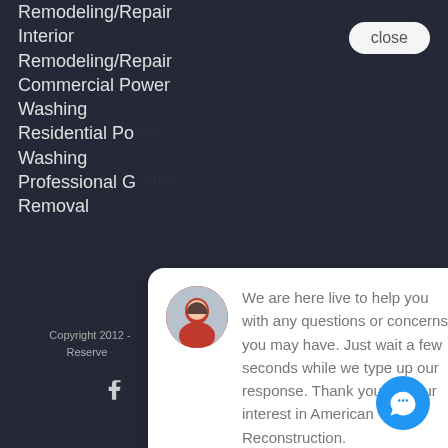Remodeling/Repair
Interior Remodeling/Repair
Commercial Power Washing
Residential Power Washing
Professional Graffiti Removal
[Figure (screenshot): Chat popup with avatar of a woman and message: We are here live to help you with any questions or concerns you may have. Just wait a few seconds while we type up our response. Thank you for your interest in American Reconstruction. With a close button at top right.]
Copyright 2012 - All Rights Reserved
Sitemap
[Figure (other): Social media icons: Facebook, Twitter, Instagram, Pinterest]
[Figure (other): Blue circular chat button with speech bubble icon]